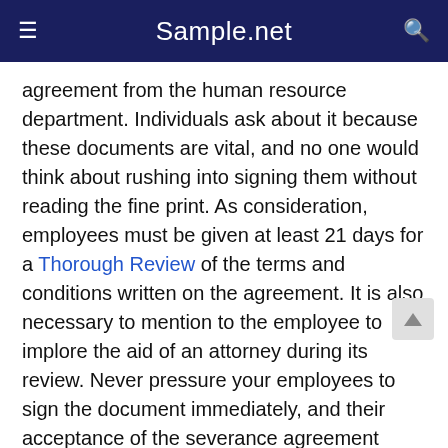Sample.net
agreement from the human resource department. Individuals ask about it because these documents are vital, and no one would think about rushing into signing them without reading the fine print. As consideration, employees must be given at least 21 days for a Thorough Review of the terms and conditions written on the agreement. It is also necessary to mention to the employee to implore the aid of an attorney during its review. Never pressure your employees to sign the document immediately, and their acceptance of the severance agreement must be voluntary. Upon signing, employees have a seven-day Revocation Period.
Step 2: Indicate a Precise Competitor List to Support the Non-Compete Agreement
If your severance agreement contains a non-compete